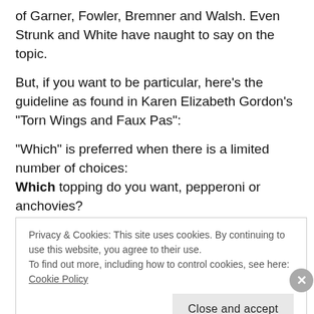of Garner, Fowler, Bremner and Walsh. Even Strunk and White have naught to say on the topic.
But, if you want to be particular, here’s the guideline as found in Karen Elizabeth Gordon’s “Torn Wings and Faux Pas”:
“Which” is preferred when there is a limited number of choices:
Which topping do you want, pepperoni or anchovies?
And “what” is preferred with unlimited choices:
What foods did you try in Italy?
Privacy & Cookies: This site uses cookies. By continuing to use this website, you agree to their use.
To find out more, including how to control cookies, see here:
Cookie Policy
Close and accept